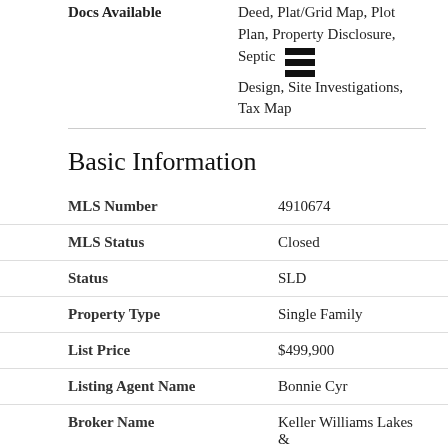| Field | Value |
| --- | --- |
| Docs Available | Deed, Plat/Grid Map, Plot Plan, Property Disclosure, Septic Design, Site Investigations, Tax Map |
Basic Information
| Field | Value |
| --- | --- |
| MLS Number | 4910674 |
| MLS Status | Closed |
| Status | SLD |
| Property Type | Single Family |
| List Price | $499,900 |
| Listing Agent Name | Bonnie Cyr |
| Broker Name | Keller Williams Lakes & Mountains Realty |
| Selling Agent Name | Dawn Valentino |
| Sale Price | $465,000 |